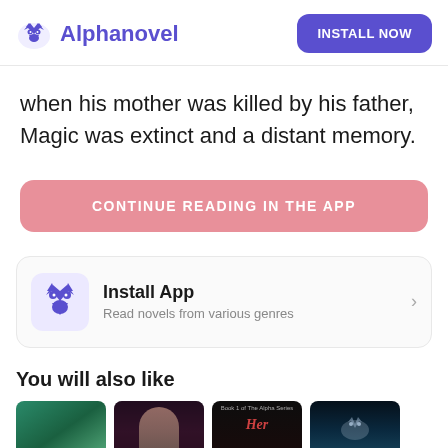Alphanovel | INSTALL NOW
when his mother was killed by his father, Magic was extinct and a distant memory.
CONTINUE READING IN THE APP
[Figure (infographic): Install App card with wolf logo icon, title 'Install App', subtitle 'Read novels from various genres', and a right chevron arrow]
You will also like
[Figure (photo): Four book cover thumbnails shown at the bottom: My Personal (green), dark cover with woman, Her (dark with red text), and blue wildlife cover]